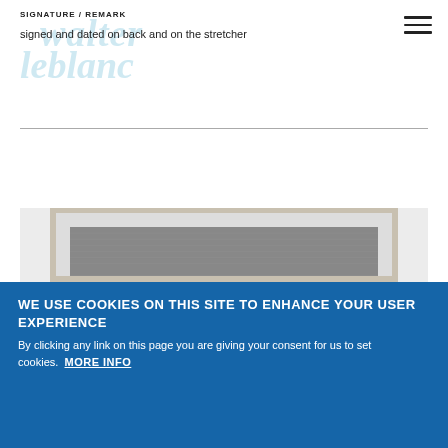SIGNATURE / REMARK
signed and dated on back and on the stretcher
[Figure (illustration): Watermark text 'walter leblanc' in light blue italic behind header text]
[Figure (photo): Photograph of a framed artwork showing a dark textured canvas within a light wooden frame, partially visible]
WE USE COOKIES ON THIS SITE TO ENHANCE YOUR USER EXPERIENCE
By clicking any link on this page you are giving your consent for us to set cookies.
MORE INFO